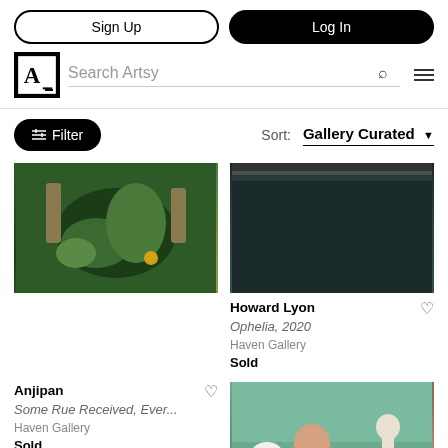Sign Up | Log In
[Figure (screenshot): Artsy logo with letter A in a square box]
Search Artsy
Filter  Sort: Gallery Curated
[Figure (photo): Close-up painting of green plants and a yellow flower in a basket]
[Figure (photo): Dark moody painting, top portion visible]
Howard Lyon
Ophelia, 2020
Haven Gallery
Sold
Anjipan
Some Rue Received, Ever...
Haven Gallery
Sold
[Figure (photo): Figurative painting with woman, skeleton, and angel figures with flowers on green background]
[Figure (photo): Circular plate artwork with colorful design, partially visible]
[Figure (photo): Large figurative oil painting partially visible on right]